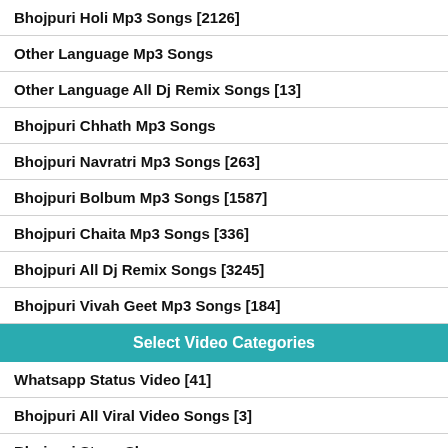Bhojpuri Holi Mp3 Songs [2126]
Other Language Mp3 Songs
Other Language All Dj Remix Songs [13]
Bhojpuri Chhath Mp3 Songs
Bhojpuri Navratri Mp3 Songs [263]
Bhojpuri Bolbum Mp3 Songs [1587]
Bhojpuri Chaita Mp3 Songs [336]
Bhojpuri All Dj Remix Songs [3245]
Bhojpuri Vivah Geet Mp3 Songs [184]
Select Video Categories
Whatsapp Status Video [41]
Bhojpuri All Viral Video Songs [3]
Bhojpuri Stage Show
Bhojpuri Full Movie [15]